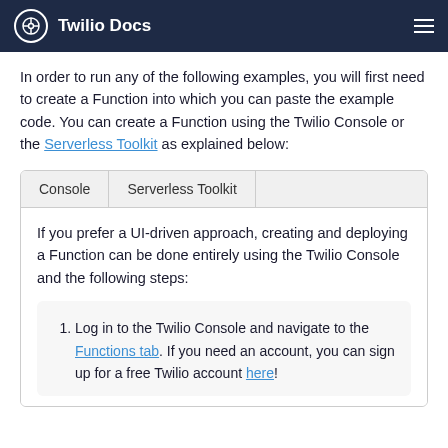Twilio Docs
In order to run any of the following examples, you will first need to create a Function into which you can paste the example code. You can create a Function using the Twilio Console or the Serverless Toolkit as explained below:
| Console | Serverless Toolkit |  |
| --- | --- | --- |
| If you prefer a UI-driven approach, creating and deploying a Function can be done entirely using the Twilio Console and the following steps: |  |  |
Log in to the Twilio Console and navigate to the Functions tab. If you need an account, you can sign up for a free Twilio account here!